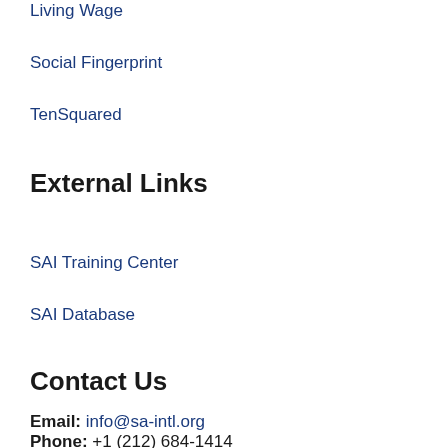Living Wage
Social Fingerprint
TenSquared
External Links
SAI Training Center
SAI Database
Contact Us
Email: info@sa-intl.org
Phone: +1 (212) 684-1414